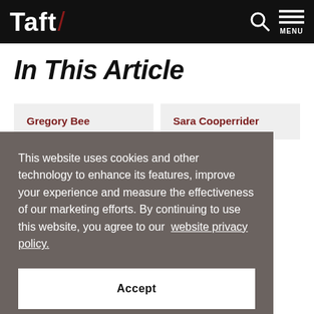Taft/ [navigation: search icon, MENU]
In This Article
Gregory Bee
Sara Cooperrider
This website uses cookies and other technology to enhance its features, improve your experience and measure the effectiveness of our marketing efforts. By continuing to use this website, you agree to our website privacy policy.
Accept